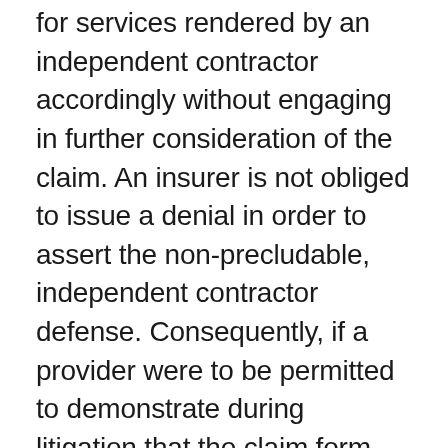for services rendered by an independent contractor accordingly without engaging in further consideration of the claim. An insurer is not obliged to issue a denial in order to assert the non-precludable, independent contractor defense. Consequently, if a provider were to be permitted to demonstrate during litigation that the claim form was incorrect and services were, in fact, rendered by an employee, not only would the insurer, which exercised its option not to expend further efforts to defend a facially meritless claim, have lost its opportunity to conduct meaningful claims verification, but also its decision not to issue a denial